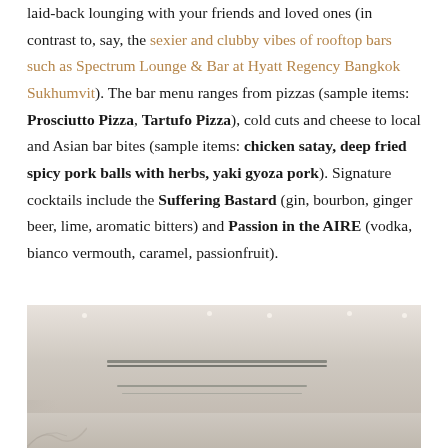laid-back lounging with your friends and loved ones (in contrast to, say, the sexier and clubby vibes of rooftop bars such as Spectrum Lounge & Bar at Hyatt Regency Bangkok Sukhumvit). The bar menu ranges from pizzas (sample items: Prosciutto Pizza, Tartufo Pizza), cold cuts and cheese to local and Asian bar bites (sample items: chicken satay, deep fried spicy pork balls with herbs, yaki gyoza pork). Signature cocktails include the Suffering Bastard (gin, bourbon, ginger beer, lime, aromatic bitters) and Passion in the AIRE (vodka, bianco vermouth, caramel, passionfruit).
[Figure (photo): Interior photo of a lounge bar with light-colored walls, recessed ceiling lights, and a long horizontal bar or counter element visible in the middle distance. The space appears bright and modern.]